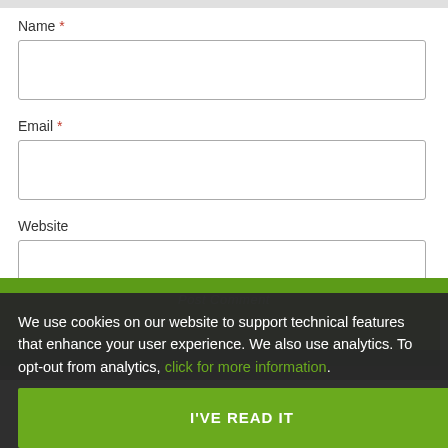Name *
Email *
Website
We use cookies on our website to support technical features that enhance your user experience. We also use analytics. To opt-out from analytics, click for more information.
I'VE READ IT